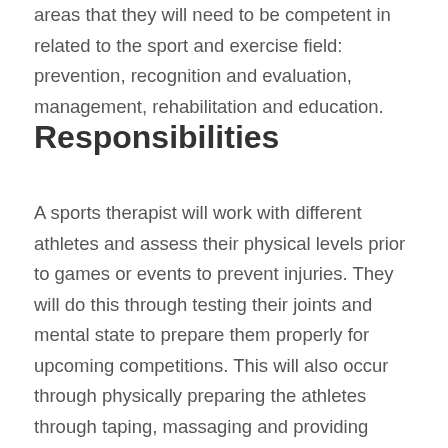areas that they will need to be competent in related to the sport and exercise field: prevention, recognition and evaluation, management, rehabilitation and education.
Responsibilities
A sports therapist will work with different athletes and assess their physical levels prior to games or events to prevent injuries. They will do this through testing their joints and mental state to prepare them properly for upcoming competitions. This will also occur through physically preparing the athletes through taping, massaging and providing emergency services if needed. During competitions and events, the sports therapists will treat injuries to help with the pain or rehabilitate